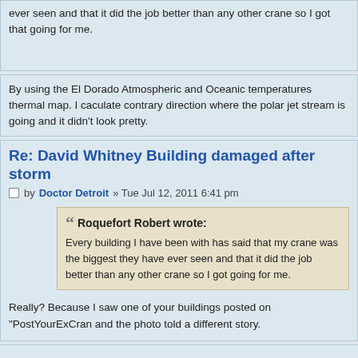ever seen and that it did the job better than any other crane so I got that going for me.
By using the El Dorado Atmospheric and Oceanic temperatures thermal map. I caculate contrary direction where the polar jet stream is going and it didn't look pretty.
Re: David Whitney Building damaged after storm
by Doctor Detroit » Tue Jul 12, 2011 6:41 pm
Roquefort Robert wrote: Every building I have been with has said that my crane was the biggest they have ever seen and that it did the job better than any other crane so I got going for me.
Really? Because I saw one of your buildings posted on "PostYourExCran and the photo told a different story.